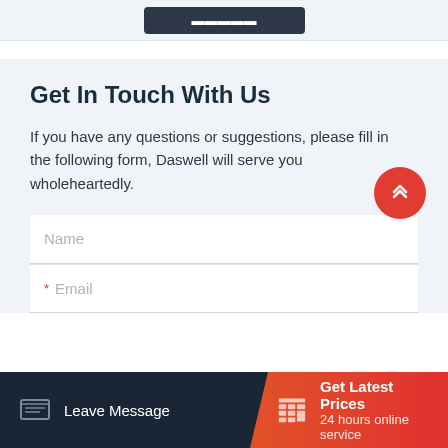Get In Touch With Us
If you have any questions or suggestions, please fill in the following form, Daswell will serve you wholeheartedly.
Name
* Email
Leave Message
Get Latest Prices
24 hours online service